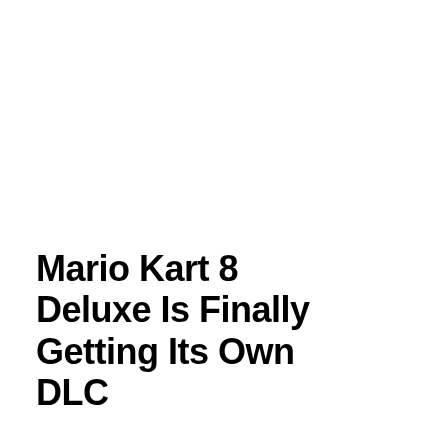Mario Kart 8 Deluxe Is Finally Getting Its Own DLC